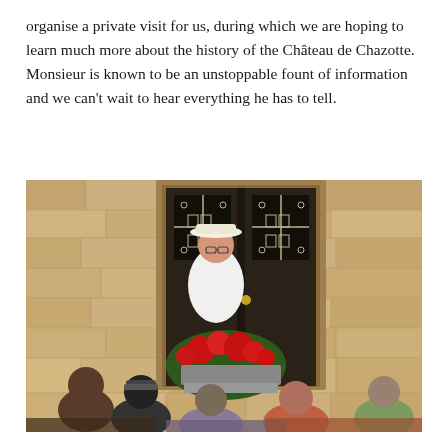organise a private visit for us, during which we are hoping to learn much more about the history of the Château de Chazotte. Monsieur is known to be an unstoppable fount of information and we can't wait to hear everything he has to tell.
[Figure (photo): A man in a white shirt and straw hat standing in front of a stone building with a dark wooden double door decorated with geometric ironwork. Red geraniums in a planter are in the foreground. Several people with their backs to the camera are listening to him, as if on a guided tour.]